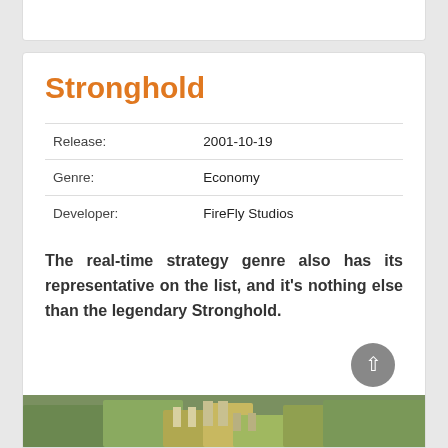Stronghold
| Release: | 2001-10-19 |
| Genre: | Economy |
| Developer: | FireFly Studios |
The real-time strategy genre also has its representative on the list, and it’s nothing else than the legendary Stronghold.
[Figure (screenshot): Screenshot of Stronghold game showing castle/fortress scene with terrain]